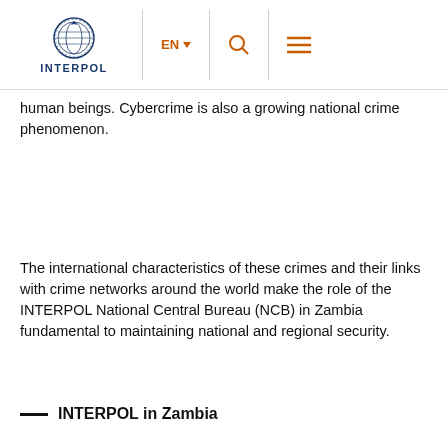INTERPOL — EN — [search] [menu]
human beings.  Cybercrime is also a growing national crime phenomenon.
The international characteristics of these crimes and their links with crime networks around the world make the role of the INTERPOL National Central Bureau (NCB) in Zambia fundamental to maintaining national and regional security.
— INTERPOL in Zambia